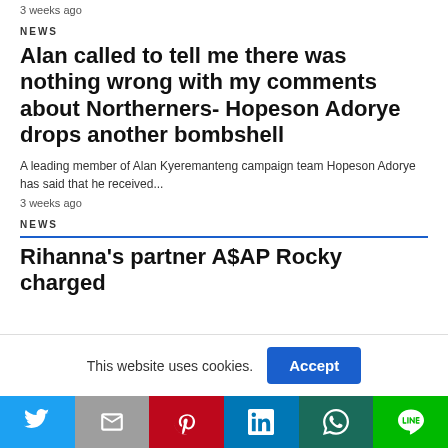3 weeks ago
NEWS
Alan called to tell me there was nothing wrong with my comments about Northerners- Hopeson Adorye drops another bombshell
A leading member of Alan Kyeremanteng campaign team Hopeson Adorye has said that he received...
3 weeks ago
NEWS
Rihanna's partner A$AP Rocky charged
This website uses cookies.
Accept